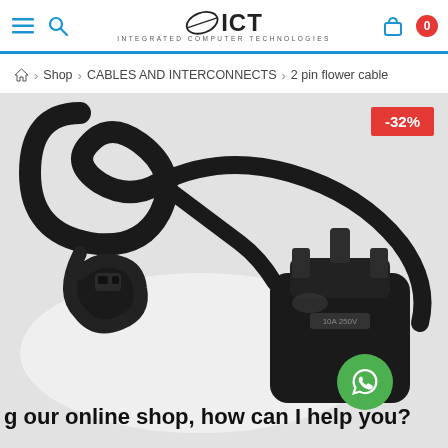ICT – Integrated Computer Technologies header with navigation icons and logo
Shop > CABLES AND INTERCONNECTS > 2 pin flower cable
[Figure (photo): A black 2-pin figure-8 power cable (flower cable) with a UK 3-pin plug, coiled on a light background. A red badge shows -32% discount. A green WhatsApp chat button is visible in the bottom right corner. Overlay text reads: 'g our online shop, how can I help you?']